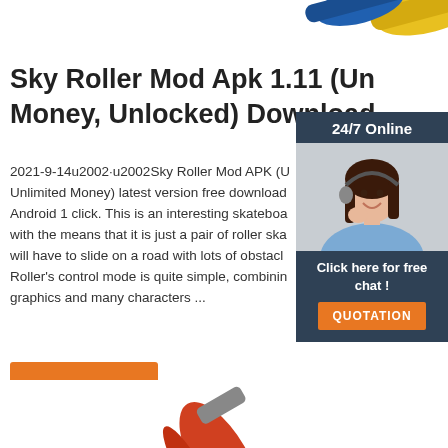[Figure (photo): Decorative top image - rolled material/tubes in yellow and blue]
Sky Roller Mod Apk 1.11 (Unlimited Money, Unlocked) Download
2021-9-14u2002·u2002Sky Roller Mod APK (Unlimited Money) latest version free download for Android 1 click. This is an interesting skateboard game with the means that it is just a pair of roller skates, you will have to slide on a road with lots of obstacles. Sky Roller's control mode is quite simple, combining graphics and many characters ...
[Figure (photo): Chat widget with woman wearing headset, 24/7 Online support panel with dark blue background]
Get Price
[Figure (photo): Bottom decorative image - orange/red tool handle visible at bottom]